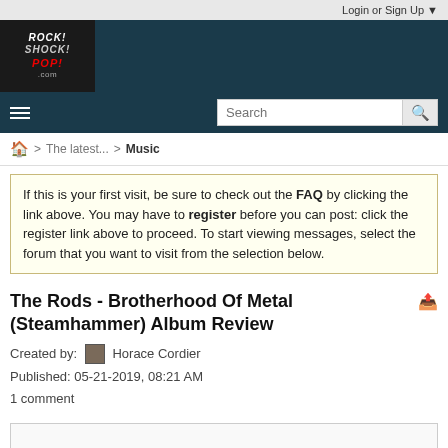Login or Sign Up ▼
[Figure (logo): Rock! Shock! Pop! .com website logo on dark background header banner]
Search
🏠 > The latest... > Music
If this is your first visit, be sure to check out the FAQ by clicking the link above. You may have to register before you can post: click the register link above to proceed. To start viewing messages, select the forum that you want to visit from the selection below.
The Rods - Brotherhood Of Metal (Steamhammer) Album Review
Created by: Horace Cordier
Published: 05-21-2019, 08:21 AM
1 comment